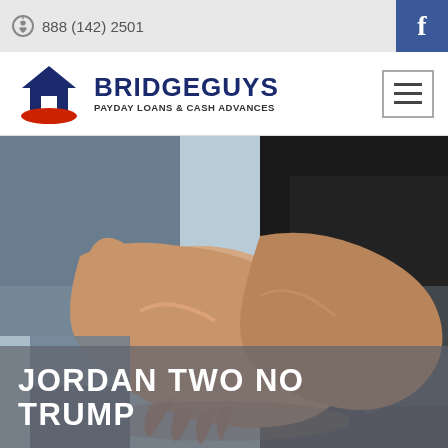888 (142) 2501
[Figure (logo): BridgeGuys Payday Loans & Cash Advances logo with house and hands icon]
[Figure (photo): Two people shaking hands in business attire, close-up of handshake]
JORDAN TWO NO TRUMP